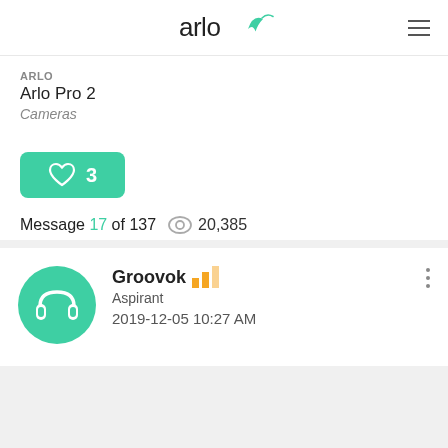arlo
ARLO
Arlo Pro 2
Cameras
♡ 3
Message 17 of 137   👁 20,385
Groovok
Aspirant
2019-12-05 10:27 AM